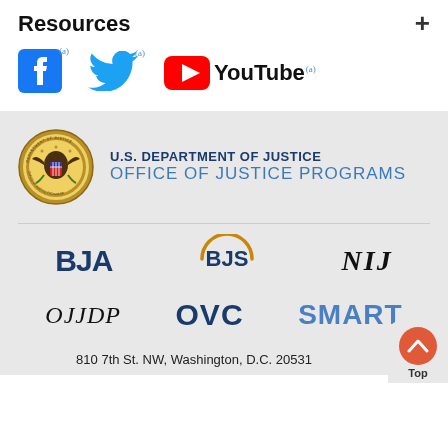Resources
[Figure (logo): Facebook logo icon]
[Figure (logo): Twitter bird logo icon]
[Figure (logo): YouTube logo with play button and text]
[Figure (logo): U.S. Department of Justice Office of Justice Programs seal and name]
[Figure (logo): BJA logo - Bureau of Justice Assistance]
[Figure (logo): BJS logo - Bureau of Justice Statistics with circular arc]
[Figure (logo): NIJ logo - National Institute of Justice in italic serif]
[Figure (logo): OJJDP logo - Office of Juvenile Justice and Delinquency Prevention]
[Figure (logo): OVC logo - Office for Victims of Crime]
[Figure (logo): SMART logo - Sex Offender Sentencing, Monitoring, Apprehending, Registering, and Tracking]
810 7th St. NW, Washington, D.C. 20531